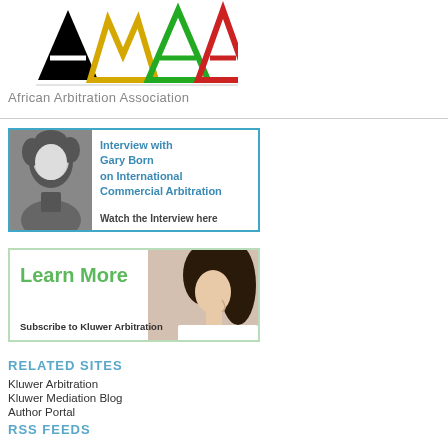[Figure (logo): African Arbitration Association logo with colorful AAA letters in black, yellow, green, red]
African Arbitration Association
[Figure (infographic): Interview box with photo of Gary Born and text: Interview with Gary Born on International Commercial Arbitration, Watch the Interview here]
[Figure (infographic): Learn More banner with woman's photo. Subscribe to Kluwer Arbitration]
RELATED SITES
Kluwer Arbitration
Kluwer Mediation Blog
Author Portal
RSS FEEDS